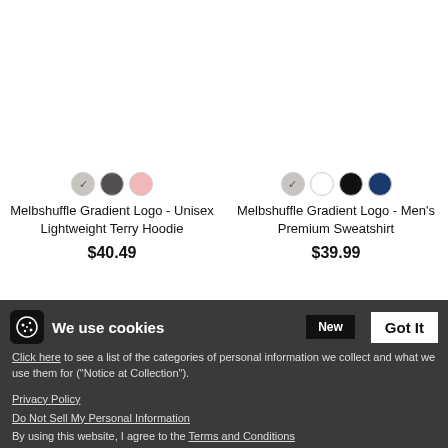[Figure (photo): Product color swatches for Melbshuffle Gradient Logo Unisex Lightweight Terry Hoodie - gray (selected), dark gray, pink]
Melbshuffle Gradient Logo - Unisex Lightweight Terry Hoodie
$40.49
[Figure (photo): Product color swatches for Melbshuffle Gradient Logo Men's Premium Sweatshirt - gray (selected), white, black, navy]
Melbshuffle Gradient Logo - Men's Premium Sweatshirt
$39.99
We use cookies
Click here to see a list of the categories of personal information we collect and what we use them for ("Notice at Collection").
Privacy Policy
Do Not Sell My Personal Information
By using this website, I agree to the Terms and Conditions